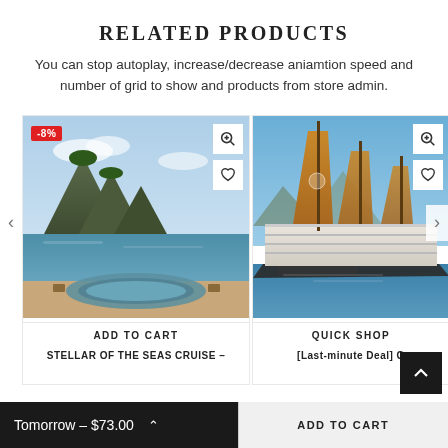RELATED PRODUCTS
You can stop autoplay, increase/decrease aniamtion speed and number of grid to show and products from store admin.
[Figure (photo): Product card 1: Ha Long Bay cruise photo with limestone karsts, deck pool visible. Badge: -8%. Actions: zoom and heart icons. Button: ADD TO CART. Name: STELLAR OF THE SEAS CRUISE -]
[Figure (photo): Product card 2: Luxury cruise ship with orange/golden sails on Ha Long Bay. Actions: zoom and heart icons. Button: QUICK SHOP. Name: [Last-minute Deal] G (truncated)]
Tomorrow – $73.00
ADD TO CART